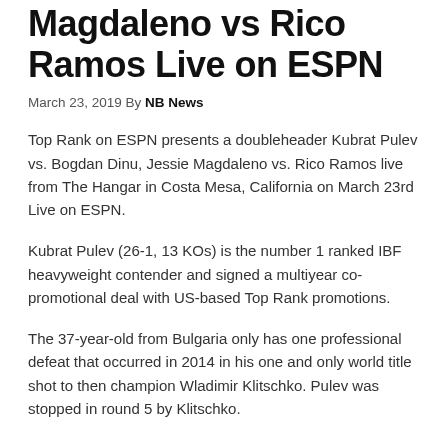Magdaleno vs Rico Ramos Live on ESPN
March 23, 2019 By NB News
Top Rank on ESPN presents a doubleheader Kubrat Pulev vs. Bogdan Dinu, Jessie Magdaleno vs. Rico Ramos live from The Hangar in Costa Mesa, California on March 23rd Live on ESPN.
Kubrat Pulev (26-1, 13 KOs) is the number 1 ranked IBF heavyweight contender and signed a multiyear co-promotional deal with US-based Top Rank promotions.
The 37-year-old from Bulgaria only has one professional defeat that occurred in 2014 in his one and only world title shot to then champion Wladimir Klitschko. Pulev was stopped in round 5 by Klitschko.